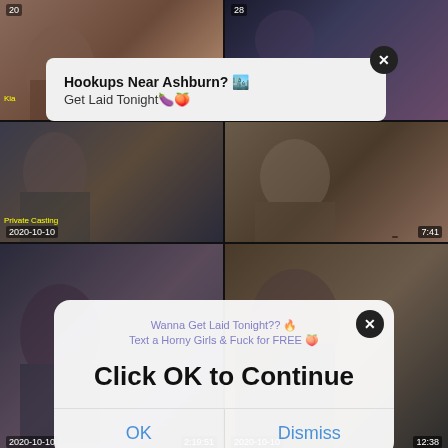[Figure (screenshot): Grid of 6 video thumbnails showing dates 2020-10-10 and durations. Background for popup dialogs.]
Hookups Near Ashburn? 🏙️
Get Laid Tonight🍆🍑
Wanna Get Laid Tonight?? 🔥
Text a Horny Girls & Fuck for FREE 🍑
Click OK to Continue
OK
Dismiss